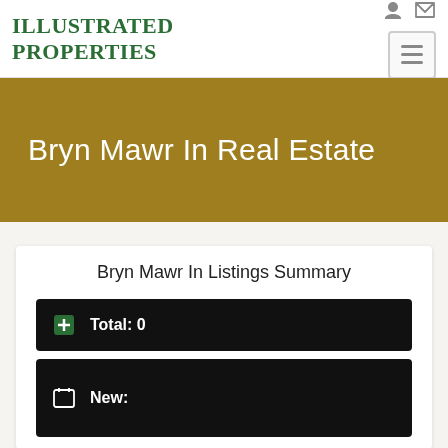[Figure (logo): Illustrated Properties logo with green serif text]
Bryn Mawr In Real Estate
Bryn Mawr In Listings Summary
Total: 0
New: 0